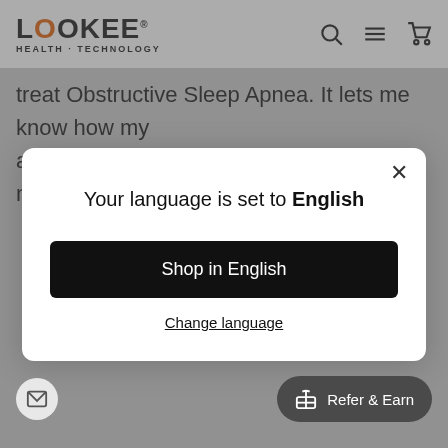LOOKEE HEALTH · TECHNOLOGY
treat Obstructive Sleep Apnea. It lets me know how my appliance is helping improve airway metrics as the
Your language is set to English
Shop in English
Change language
Refer & Earn